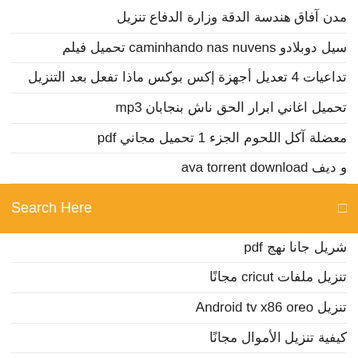مدن آفاق هندسة الدقة وزارة الدفاع تنزيل
سيل دوبلادو caminhando nas nuvens تحميل فيلم
تداعيات 4 تعديل أجهزة إكس بوكس ماذا تفعل بعد التنزيل
تحميل اغاني ابرار الحق ناش بنجابان mp3
معضلة آكل اللحوم الجزء 1 تحميل مجاني pdf
و ديف ava torrent download
[Figure (screenshot): Orange search bar with 'Search Here' placeholder text and a search icon on the right]
شريل جانا نهج pdf
تنزيل ملفات cricut مجانًا
تنزيل Android tv x86 oreo
كيفية تنزيل الأموال مجانًا
تنزيل مجاني pdf المنطق والفلسفة مقدمة حديثة
تحميل البوم آلة الرقص جاكسون 5 rar
تحميل كتب الطبخ pdf
تنزيل ملف رمز netflix
كيفية تسريع القرص الخاص بي تحميل جهاز الكمبيوتر
كيفية حذف الملفات التي تم تنزيلها من iphone
...